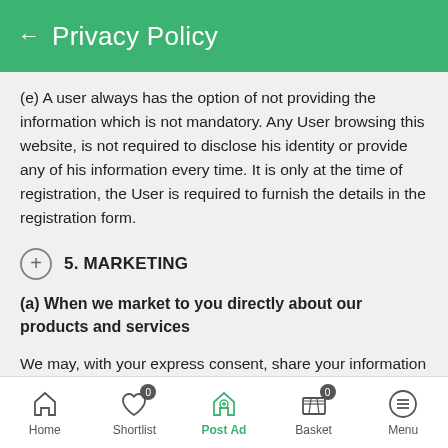← Privacy Policy
(e) A user always has the option of not providing the information which is not mandatory. Any User browsing this website, is not required to disclose his identity or provide any of his information every time. It is only at the time of registration, the User is required to furnish the details in the registration form.
5. MARKETING
(a) When we market to you directly about our products and services
We may, with your express consent, share your information with our Partner Sites and Group Companies to develop and deliver targeted advertising to you of our Partner Sites and Group Companies' products and services, or to help us to prepare marketing reports. Contiguous to this, we may send you information about our Partner
Home  Shortlist 0  Post Ad  Basket 0  Menu